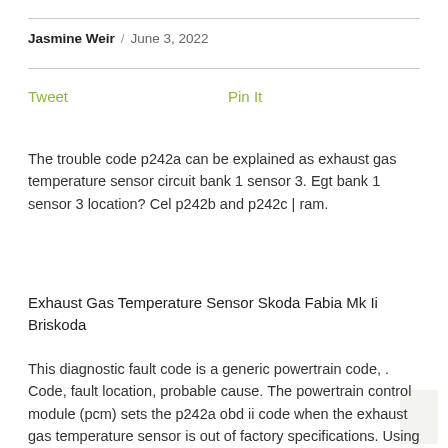Jasmine Weir / June 3, 2022
Tweet    Pin It
The trouble code p242a can be explained as exhaust gas temperature sensor circuit bank 1 sensor 3. Egt bank 1 sensor 3 location? Cel p242b and p242c | ram.
Exhaust Gas Temperature Sensor Skoda Fabia Mk Ii Briskoda
This diagnostic fault code is a generic powertrain code, . Code, fault location, probable cause. The powertrain control module (pcm) sets the p242a obd ii code when the exhaust gas temperature sensor is out of factory specifications. Using obdeleven i found fault code p242a exhaust gas temperature sensor 3 cylinder bank 1. Sensor 1 found…